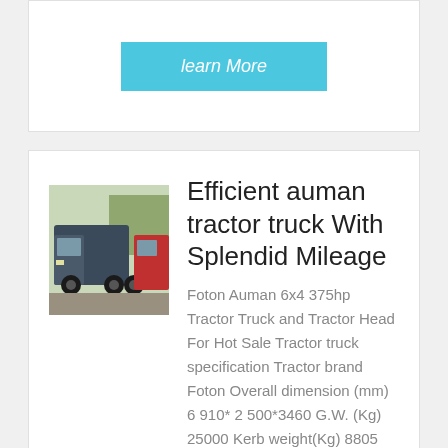[Figure (other): Cyan/teal 'learn More' button]
[Figure (photo): Foton Auman tractor truck parked, dark blue/grey cab, multiple trucks visible]
Efficient auman tractor truck With Splendid Mileage
Foton Auman 6x4 375hp Tractor Truck and Tractor Head For Hot Sale Tractor truck specification Tractor brand Foton Overall dimension (mm) 6 910* 2 500*3460 G.W. (Kg) 25000 Kerb weight(Kg) 8805 Max towing weight (kg) 40000 Person in cab 2/3 person in cab Drive mode 6X4 Number of axles / Wheelbase (mm)